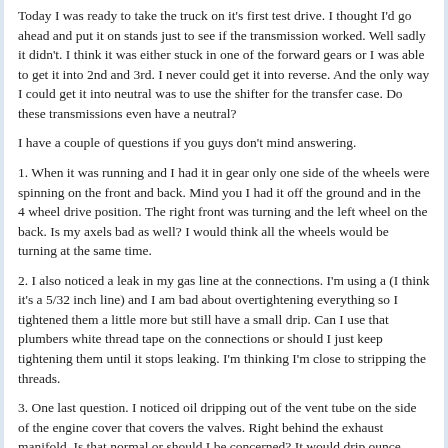Today I was ready to take the truck on it's first test drive. I thought I'd go ahead and put it on stands just to see if the transmission worked. Well sadly it didn't. I think it was either stuck in one of the forward gears or I was able to get it into 2nd and 3rd. I never could get it into reverse. And the only way I could get it into neutral was to use the shifter for the transfer case. Do these transmissions even have a neutral?
I have a couple of questions if you guys don't mind answering.
1. When it was running and I had it in gear only one side of the wheels were spinning on the front and back. Mind you I had it off the ground and in the 4 wheel drive position. The right front was turning and the left wheel on the back. Is my axels bad as well? I would think all the wheels would be turning at the same time.
2. I also noticed a leak in my gas line at the connections. I'm using a (I think it's a 5/32 inch line) and I am bad about overtightening everything so I tightened them a little more but still have a small drip. Can I use that plumbers white thread tape on the connections or should I just keep tightening them until it stops leaking. I'm thinking I'm close to stripping the threads.
3. One last question. I noticed oil dripping out of the vent tube on the side of the engine cover that covers the valves. Right behind the exhaust manifold. Is that normal or should I be concerned? It would drip ounce every 15 seconds. More or less.
That about does it. I think I'll take a break from working on the drive train and start getting the paint cleaned and ready for clear coating. I